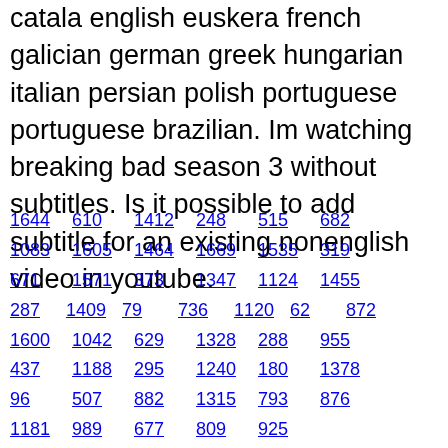catala english euskera french galician german greek hungarian italian persian polish portuguese portuguese brazilian. Im watching breaking bad season 3 without subtitles. Is it possible to add subtitle for an existing nonenglish video in youtube.
1644  610  1412  248  515  682
1083  1605  1464  1669  1535  319
671  1571  373  1347  1124  1455
287  1409  79  736  1120  62  872
1600  1042  629  1328  288  955
437  1188  295  1240  180  1378
96  507  882  1315  793  876
1181  989  677  809  925